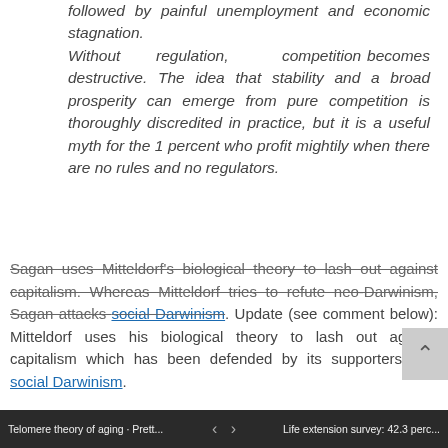followed by painful unemployment and economic stagnation. Without regulation, competition becomes destructive. The idea that stability and a broad prosperity can emerge from pure competition is thoroughly discredited in practice, but it is a useful myth for the 1 percent who profit mightily when there are no rules and no regulators.
Sagan uses Mitteldorf's biological theory to lash out against capitalism. Whereas Mitteldorf tries to refute neo-Darwinism, Sagan attacks social Darwinism. Update (see comment below): Mitteldorf uses his biological theory to lash out against capitalism which has been defended by its supporters with social Darwinism.
Telomere theory of aging · Prett...   < >   Life extension survey: 42.3 perc...